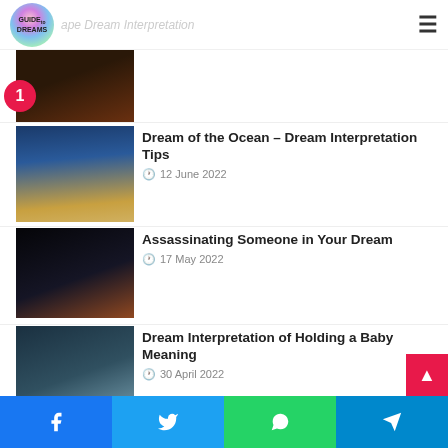Guide to Dreams – Logo and navigation
2 – Dream of the Ocean – Dream Interpretation Tips – 12 June 2022
3 – Assassinating Someone in Your Dream – 17 May 2022
4 – Dream Interpretation of Holding a Baby Meaning – 30 April 2022
5 – 15 Dream Interpretation of Driving
Social share bar: Facebook, Twitter, WhatsApp, Telegram